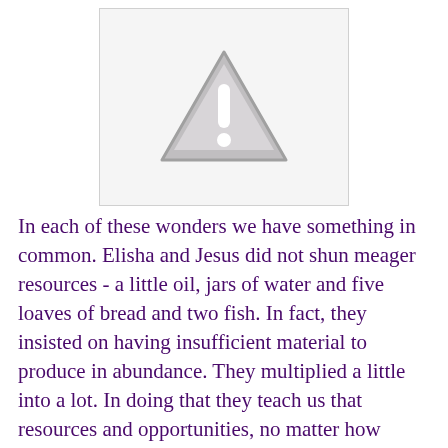[Figure (illustration): Warning/caution triangle icon with exclamation mark in grey tones on a light grey background, inside a bordered white box.]
In each of these wonders we have something in common. Elisha and Jesus did not shun meager resources - a little oil, jars of water and five loaves of bread and two fish. In fact, they insisted on having insufficient material to produce in abundance. They multiplied a little into a lot. In doing that they teach us that resources and opportunities, no matter how small, can be the